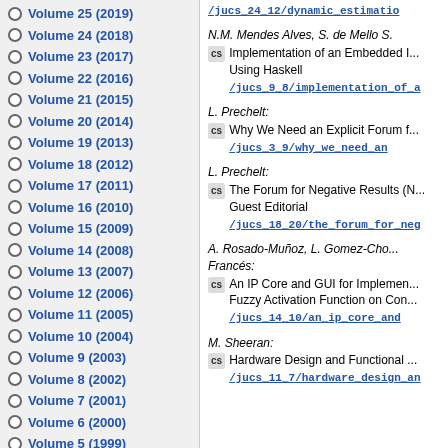Volume 25 (2019)
Volume 24 (2018)
Volume 23 (2017)
Volume 22 (2016)
Volume 21 (2015)
Volume 20 (2014)
Volume 19 (2013)
Volume 18 (2012)
Volume 17 (2011)
Volume 16 (2010)
Volume 15 (2009)
Volume 14 (2008)
Volume 13 (2007)
Volume 12 (2006)
Volume 11 (2005)
Volume 10 (2004)
Volume 9 (2003)
Volume 8 (2002)
Volume 7 (2001)
Volume 6 (2000)
Volume 5 (1999)
/jucs_24_12/dynamic_estimatio
N.M. Mendes Alves, S. de Mello S.: Implementation of an Embedded I... Using Haskell /jucs_9_8/implementation_of_a
L. Prechelt: Why We Need an Explicit Forum f... /jucs_3_9/why_we_need_an
L. Prechelt: The Forum for Negative Results (N... Guest Editorial /jucs_18_20/the_forum_for_neg
A. Rosado-Muñoz, L. Gomez-Cho... Francés: An IP Core and GUI for Implemen... Fuzzy Activation Function on Con... /jucs_14_10/an_ip_core_and
M. Sheeran: Hardware Design and Functional ... /jucs_11_7/hardware_design_an